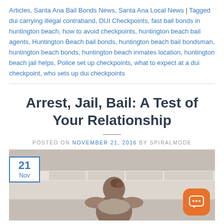Articles, Santa Ana Bail Bonds News, Santa Ana Local News | Tagged dui carrying illegal contraband, DUI Checkpoints, fast bail bonds in huntington beach, how to avoid checkpoints, huntington beach bail agents, Huntington Beach bail bonds, huntington beach bail bondsman, huntington beach bonds, huntington beach inmates location, huntington beach jail helps, Police set up checkpoints, what to expect at a dui checkpoint, who sets up dui checkpoints
Arrest, Jail, Bail: A Test of Your Relationship
POSTED ON NOVEMBER 21, 2016 BY SPIRALMODE
[Figure (photo): A woman with brown hair pulled back, viewed from behind/side, appearing to be in a kitchen or light-colored room. A date badge showing '21 Nov' is overlaid in the top-left. An orange chat button is in the bottom-right corner.]